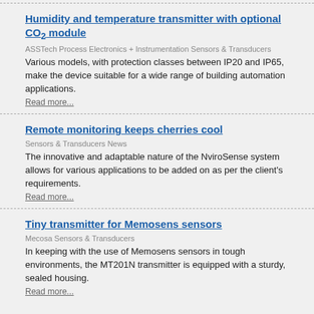Humidity and temperature transmitter with optional CO2 module
ASSTech Process Electronics + Instrumentation Sensors & Transducers
Various models, with protection classes between IP20 and IP65, make the device suitable for a wide range of building automation applications.
Read more...
Remote monitoring keeps cherries cool
Sensors & Transducers News
The innovative and adaptable nature of the NviroSense system allows for various applications to be added on as per the client's requirements.
Read more...
Tiny transmitter for Memosens sensors
Mecosa Sensors & Transducers
In keeping with the use of Memosens sensors in tough environments, the MT201N transmitter is equipped with a sturdy, sealed housing.
Read more...